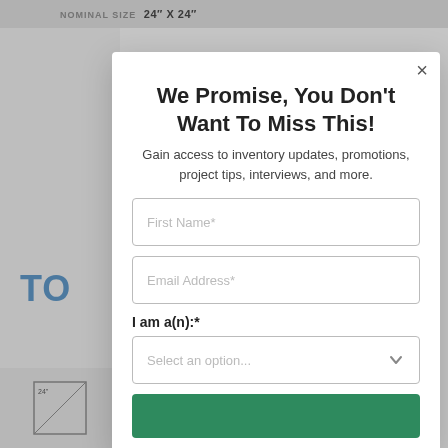NOMINAL SIZE 24" x 24"
We Promise, You Don't Want To Miss This!
Gain access to inventory updates, promotions, project tips, interviews, and more.
First Name*
Email Address*
I am a(n):*
Select an option...